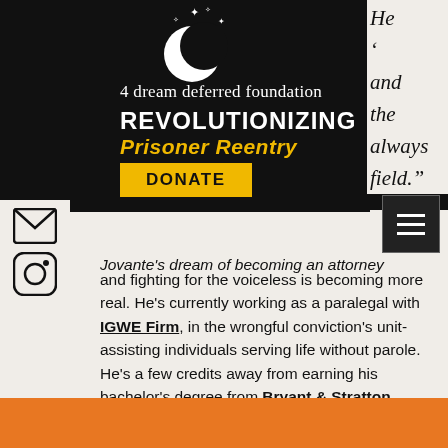[Figure (logo): 4 a dream deferred foundation logo with moon and stars, black background, with tagline REVOLUTIONIZING Prisoner Reentry and a yellow DONATE button]
He , and the always field."
Jovante's dream of becoming an attorney and fighting for the voiceless is becoming more real. He's currently working as a paralegal with IGWE Firm, in the wrongful conviction's unit- assisting individuals serving life without parole. He's a few credits away from earning his bachelor's degree from Bryant & Stratton College with a 4.0 GPA and he has recently been accepted into Harvard University's Law School for the Fall of 2022!